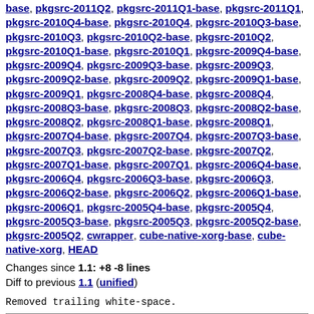base, pkgsrc-2011Q2, pkgsrc-2011Q1-base, pkgsrc-2011Q1, pkgsrc-2010Q4-base, pkgsrc-2010Q4, pkgsrc-2010Q3-base, pkgsrc-2010Q3, pkgsrc-2010Q2-base, pkgsrc-2010Q2, pkgsrc-2010Q1-base, pkgsrc-2010Q1, pkgsrc-2009Q4-base, pkgsrc-2009Q4, pkgsrc-2009Q3-base, pkgsrc-2009Q3, pkgsrc-2009Q2-base, pkgsrc-2009Q2, pkgsrc-2009Q1-base, pkgsrc-2009Q1, pkgsrc-2008Q4-base, pkgsrc-2008Q4, pkgsrc-2008Q3-base, pkgsrc-2008Q3, pkgsrc-2008Q2-base, pkgsrc-2008Q2, pkgsrc-2008Q1-base, pkgsrc-2008Q1, pkgsrc-2007Q4-base, pkgsrc-2007Q4, pkgsrc-2007Q3-base, pkgsrc-2007Q3, pkgsrc-2007Q2-base, pkgsrc-2007Q2, pkgsrc-2007Q1-base, pkgsrc-2007Q1, pkgsrc-2006Q4-base, pkgsrc-2006Q4, pkgsrc-2006Q3-base, pkgsrc-2006Q3, pkgsrc-2006Q2-base, pkgsrc-2006Q2, pkgsrc-2006Q1-base, pkgsrc-2006Q1, pkgsrc-2005Q4-base, pkgsrc-2005Q4, pkgsrc-2005Q3-base, pkgsrc-2005Q3, pkgsrc-2005Q2-base, pkgsrc-2005Q2, cwrapper, cube-native-xorg-base, cube-native-xorg, HEAD
Changes since 1.1: +8 -8 lines
Diff to previous 1.1 (unified)
Removed trailing white-space.
This form allows you to request diff's between any two revisions of a file. You may select a symbolic revision name using the selection box or you may type in a numeric name using the type-in text box.